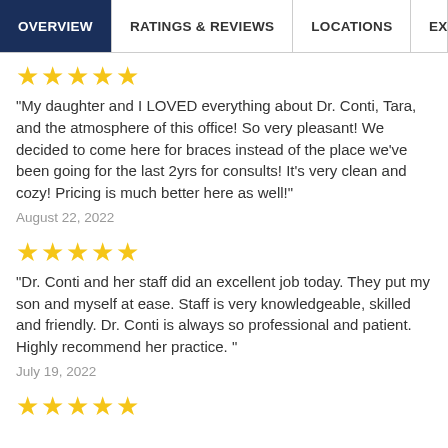OVERVIEW | RATINGS & REVIEWS | LOCATIONS | EX
★★★★★
"My daughter and I LOVED everything about Dr. Conti, Tara, and the atmosphere of this office! So very pleasant! We decided to come here for braces instead of the place we've been going for the last 2yrs for consults! It's very clean and cozy! Pricing is much better here as well!"
August 22, 2022
★★★★★
"Dr. Conti and her staff did an excellent job today. They put my son and myself at ease. Staff is very knowledgeable, skilled and friendly. Dr. Conti is always so professional and patient. Highly recommend her practice. "
July 19, 2022
★★★★★